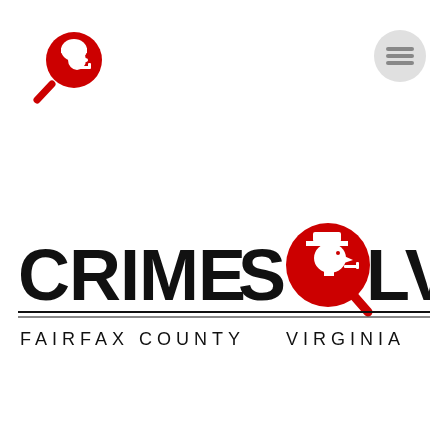[Figure (logo): Small red circular magnifying glass icon with Sherlock Holmes silhouette, top-left corner navigation logo]
[Figure (logo): Gray circular hamburger menu icon, top-right corner]
[Figure (logo): Crime Solvers Fairfax County Virginia logo - large bold black text CRIME SOLVERS with red circular Sherlock Holmes magnifying glass replacing the O in SOLVERS, with FAIRFAX COUNTY and VIRGINIA in spaced caps below a horizontal line]